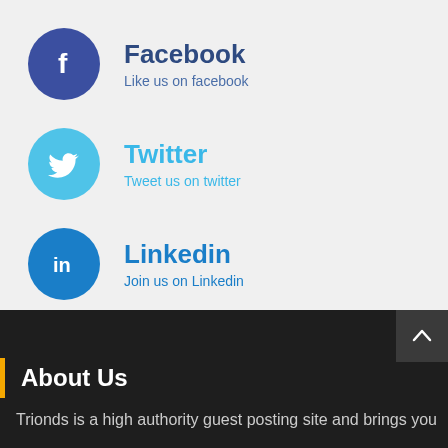Facebook — Like us on facebook
Twitter — Tweet us on twitter
Linkedin — Join us on Linkedin
About Us
Trionds is a high authority guest posting site and brings you